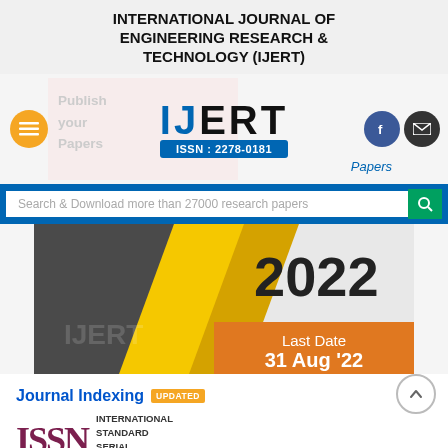INTERNATIONAL JOURNAL OF ENGINEERING RESEARCH & TECHNOLOGY (IJERT)
[Figure (logo): IJERT logo with ISSN: 2278-0181, publish your papers background, menu button, social icons (Facebook, email)]
Search & Download more than 27000 research papers
[Figure (illustration): Promotional banner showing 2022 with diagonal geometric shapes in dark gray, yellow and gold. Last Date 31 Aug '22 in orange box.]
Journal Indexing UPDATED
[Figure (logo): ISSN logo with INTERNATIONAL STANDARD SERIAL text]